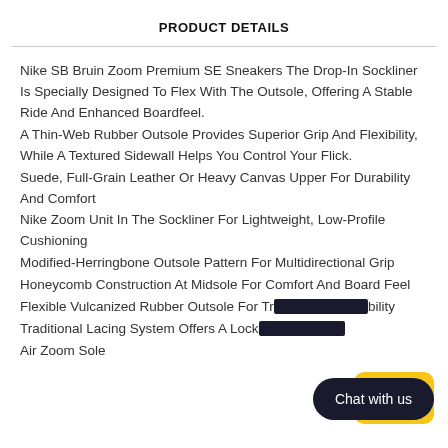PRODUCT DETAILS
Nike SB Bruin Zoom Premium SE Sneakers The Drop-In Sockliner Is Specially Designed To Flex With The Outsole, Offering A Stable Ride And Enhanced Boardfeel.
A Thin-Web Rubber Outsole Provides Superior Grip And Flexibility, While A Textured Sidewall Helps You Control Your Flick.
Suede, Full-Grain Leather Or Heavy Canvas Upper For Durability And Comfort
Nike Zoom Unit In The Sockliner For Lightweight, Low-Profile Cushioning
Modified-Herringbone Outsole Pattern For Multidirectional Grip
Honeycomb Construction At Midsole For Comfort And Board Feel
Flexible Vulcanized Rubber Outsole For Tr[obscured]bility
Traditional Lacing System Offers A Lock[obscured]
Air Zoom Sole